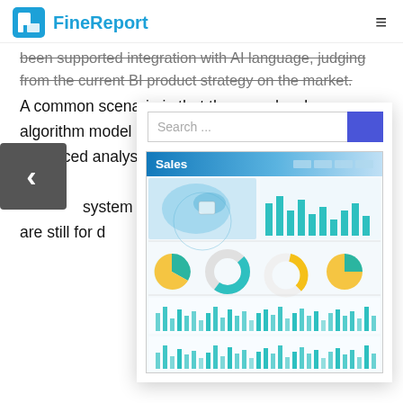FineReport
been supported integration with AI language, judging from the current BI product strategy on the market.
A common scenario is that the user develops an algorithm model by himself or has accumulated advanced analysis models for many years. These models still need to be processed by a BI system for visual analysis. Existing tools are still for data.
[Figure (screenshot): Search bar with blue button and FineReport Sales dashboard preview showing map, bar charts, pie charts, and donut charts]
5.8 Self-service
Users themselves connect different sources to create reports automatically. intelligent analysis and